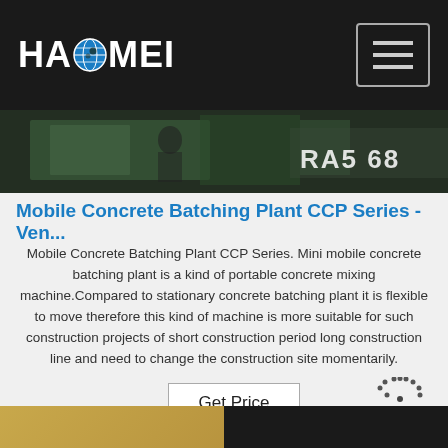HAOMEI
[Figure (photo): Dark industrial machinery background with partial text 'RA568' visible]
Mobile Concrete Batching Plant CCP Series - Ven...
Mobile Concrete Batching Plant CCP Series. Mini mobile concrete batching plant is a kind of portable concrete mixing machine.Compared to stationary concrete batching plant it is flexible to move therefore this kind of machine is more suitable for such construction projects of short construction period long construction line and need to change the construction site momentarily.
[Figure (photo): Bottom strip showing two partial photos of machinery/equipment]